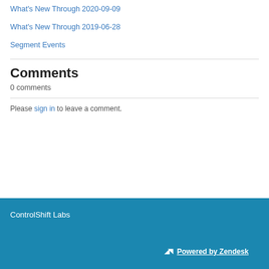What's New Through 2020-09-09
What's New Through 2019-06-28
Segment Events
Comments
0 comments
Please sign in to leave a comment.
ControlShift Labs  Powered by Zendesk